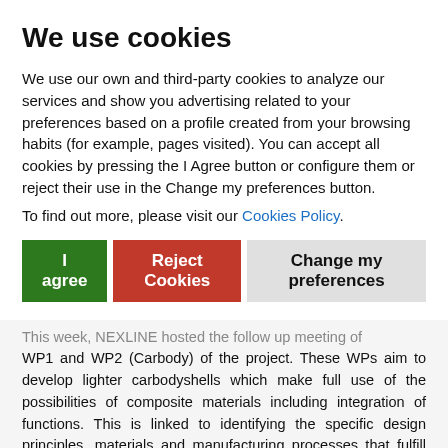We use cookies
We use our own and third-party cookies to analyze our services and show you advertising related to your preferences based on a profile created from your browsing habits (for example, pages visited). You can accept all cookies by pressing the I Agree button or configure them or reject their use in the Change my preferences button.
To find out more, please visit our Cookies Policy.
I agree  Reject Cookies  Change my preferences
This week, NEXLINE hosted the follow up meeting of WP1 and WP2 (Carbody) of the project. These WPs aim to develop lighter carbodyshells which make full use of the possibilities of composite materials including integration of functions. This is linked to identifying the specific design principles, materials and manufacturing processes that fulfill the requirements